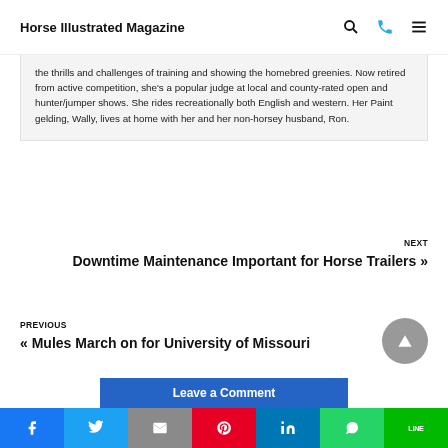Horse Illustrated Magazine
the thrills and challenges of training and showing the homebred greenies. Now retired from active competition, she's a popular judge at local and county-rated open and hunter/jumper shows. She rides recreationally both English and western. Her Paint gelding, Wally, lives at home with her and her non-horsey husband, Ron.
NEXT
Downtime Maintenance Important for Horse Trailers »
PREVIOUS
« Mules March on for University of Missouri
Leave a Comment